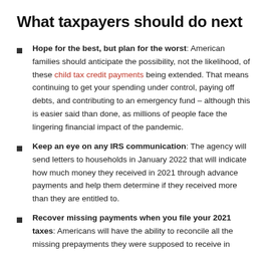What taxpayers should do next
Hope for the best, but plan for the worst: American families should anticipate the possibility, not the likelihood, of these child tax credit payments being extended. That means continuing to get your spending under control, paying off debts, and contributing to an emergency fund – although this is easier said than done, as millions of people face the lingering financial impact of the pandemic.
Keep an eye on any IRS communication: The agency will send letters to households in January 2022 that will indicate how much money they received in 2021 through advance payments and help them determine if they received more than they are entitled to.
Recover missing payments when you file your 2021 taxes: Americans will have the ability to reconcile all the missing prepayments they were supposed to receive in